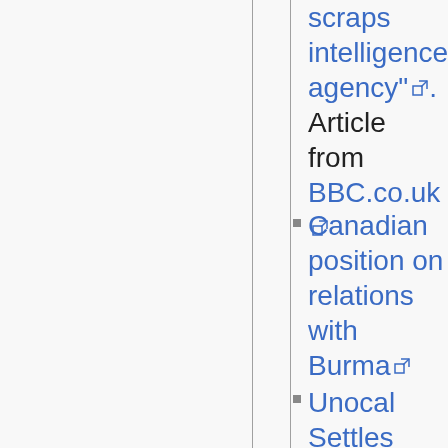"Burma scraps intelligence agency". Article from BBC.co.uk
Canadian position on relations with Burma
Unocal Settles Burma